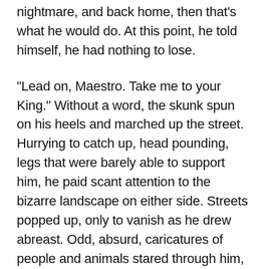nightmare, and back home, then that's what he would do. At this point, he told himself, he had nothing to lose.
“Lead on, Maestro. Take me to your King.” Without a word, the skunk spun on his heels and marched up the street. Hurrying to catch up, head pounding, legs that were barely able to support him, he paid scant attention to the bizarre landscape on either side. Streets popped up, only to vanish as he drew abreast. Odd, absurd, caricatures of people and animals stared through him, as though he were not there, did not exist in their world. And maybe he wasn’t fully in their world, or his either, but somewhere in between. For sure, the skunk saw him, and was at that very moment, turning onto a broad avenue that led up to a palatial building, with huge double doors, and guards standing on either side. Idly, he wondered if getting stuck by a cartoon